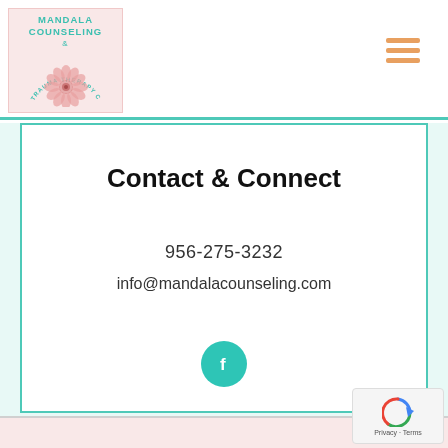[Figure (logo): Mandala Counseling & Trauma Therapy Center logo with pink mandala illustration and teal text]
[Figure (other): Three horizontal orange lines forming a hamburger/menu icon]
Contact & Connect
956-275-3232
info@mandalacounseling.com
[Figure (other): Teal circle Facebook icon with white 'f' letter]
[Figure (other): Google reCAPTCHA badge with Privacy and Terms links]